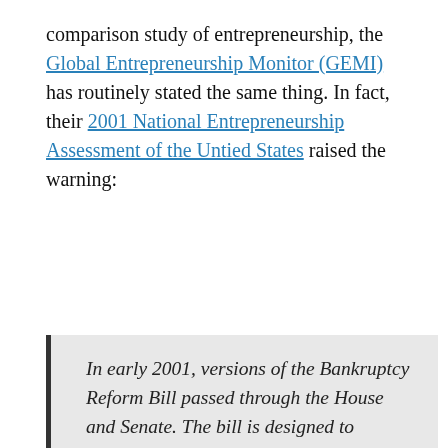comparison study of entrepreneurship, the Global Entrepreneurship Monitor (GEMI) has routinely stated the same thing. In fact, their 2001 National Entrepreneurship Assessment of the Untied States raised the warning:
In early 2001, versions of the Bankruptcy Reform Bill passed through the House and Senate. The bill is designed to reduce the number of personal bankruptcy filings submitted each year in the United States by requiring the payment of some portion of debt determined under court supervision. Proponents feel reform will protect small